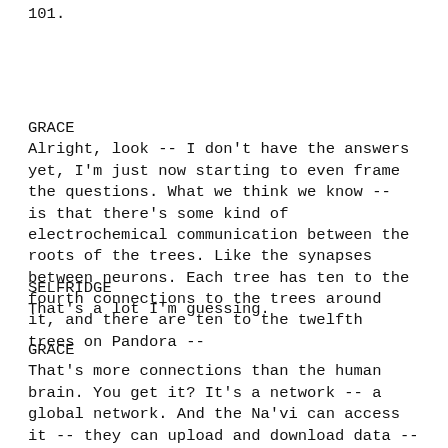101.
GRACE
Alright, look -- I don't have the answers yet, I'm just now starting to even frame the questions. What we think we know -- is that there's some kind of electrochemical communication between the roots of the trees. Like the synapses between neurons. Each tree has ten to the fourth connections to the trees around it, and there are ten to the twelfth trees on Pandora --
SELFRIDGE
That's a lot I'm guessing.
GRACE
That's more connections than the human brain. You get it? It's a network -- a global network. And the Na'vi can access it -- they can upload and download data -- memories -- at sites like the one you destroyed.